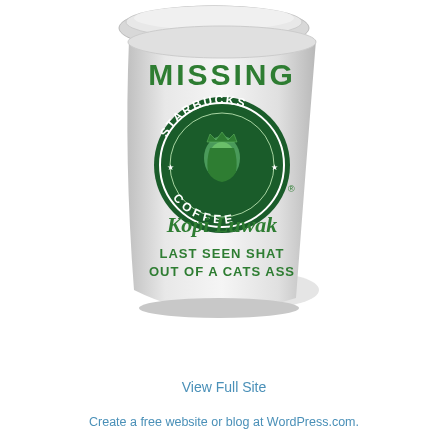[Figure (photo): A Starbucks Coffee cup with the Starbucks siren logo, with 'MISSING' written in green at the top, 'Kopi Luwak' in green italic script, and 'LAST SEEN SHAT OUT OF A CATS ASS' in green text below. The cup has a white lid partially lifted at the top.]
View Full Site
Create a free website or blog at WordPress.com.